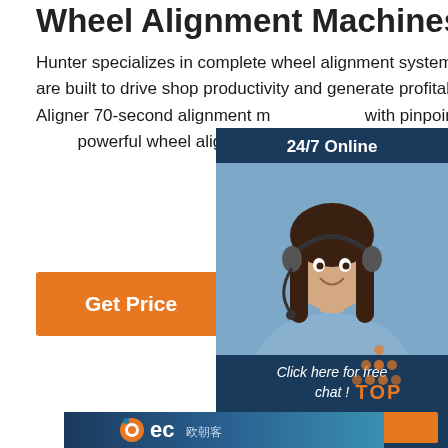Wheel Alignment Machines
Hunter specializes in complete wheel alignment systems and wheel alignment machines that are built to drive shop productivity and generate profitability. Hunter HawkEye Elite® Wheel Aligner 70-second alignment m... with pinpoint accuracy makes the HawkEye E... powerful wheel alignment machine on the ma...
[Figure (other): Orange 'Get Price' button]
[Figure (other): 24/7 Online chat widget with customer service representative photo, 'Click here for free chat!' text, and orange QUOTATION button]
[Figure (logo): BEC logo with Chinese characters and CE certification icons]
[Figure (other): Orange and dot TOP navigation button]
[Figure (other): BEC brand banner at bottom of page]